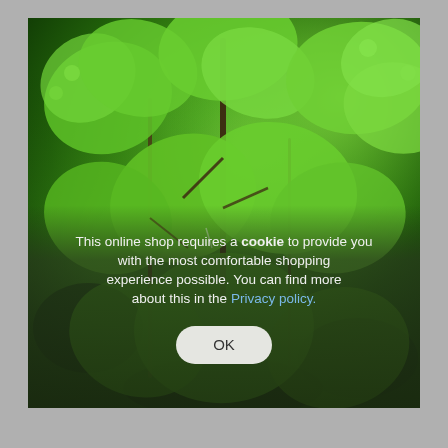[Figure (photo): Close-up photograph of green plant leaves (herb foliage, possibly cilantro or similar) with brown stems, dense green vegetation filling the frame. A semi-transparent dark overlay covers the lower portion of the image.]
This online shop requires a cookie to provide you with the most comfortable shopping experience possible. You can find more about this in the Privacy policy.